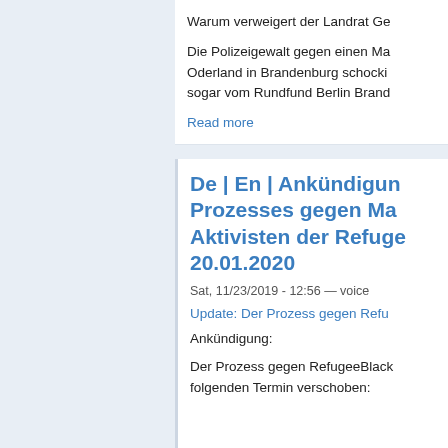Warum verweigert der Landrat Ge
Die Polizeigewalt gegen einen Ma Oderland in Brandenburg schocki sogar vom Rundfund Berlin Brand
Read more
De | En | Ankündigun Prozesses gegen Ma Aktivisten der Refuge 20.01.2020
Sat, 11/23/2019 - 12:56 — voice
Update: Der Prozess gegen Refu
Ankündigung:
Der Prozess gegen RefugeeBlack folgenden Termin verschoben: